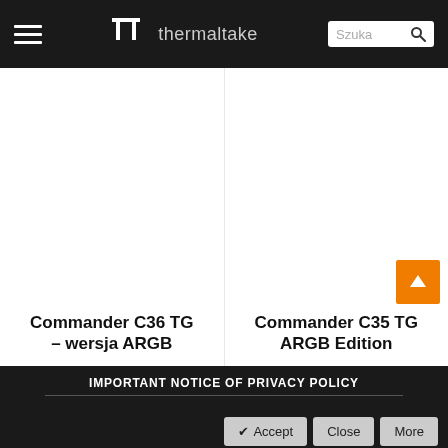Thermaltake — navigation bar with hamburger menu, logo, and search box (Szuka)
Commander C36 TG – wersja ARGB
Commander C35 TG ARGB Edition
IMPORTANT NOTICE OF PRIVACY POLICY
Accept   Close   More